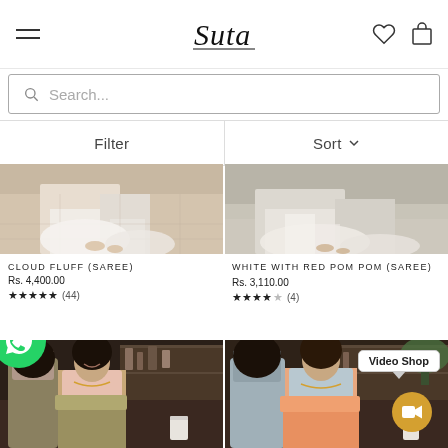Suta — navigation header with menu, logo, wishlist and cart icons
Search...
Filter   Sort
[Figure (photo): Bottom portion of a model wearing a white saree on a tiled floor]
[Figure (photo): Bottom portion of a model wearing a white saree on a shiny floor]
CLOUD FLUFF (SAREE)
Rs. 4,400.00
★★★★★ (44)
WHITE WITH RED POM POM (SAREE)
Rs. 3,110.00
★★★★☆ (4)
[Figure (photo): Two women in a kitchen setting, one wearing olive-gold saree with pink blouse]
[Figure (photo): Two women in a kitchen setting with Video Shop badge overlay, one wearing peach/salmon saree with blue blouse]
Video Shop